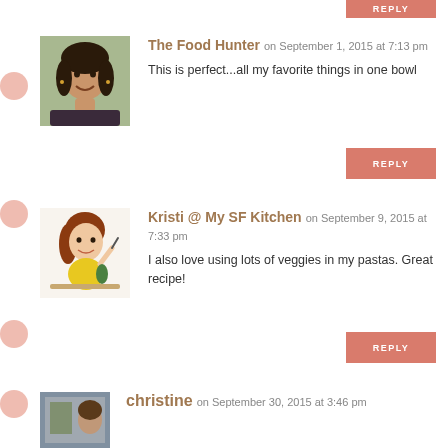[Figure (photo): Partial salmon/coral colored reply button at top right, partially cropped]
The Food Hunter on September 1, 2015 at 7:13 pm
This is perfect...all my favorite things in one bowl
[Figure (photo): Avatar photo of a smiling woman with dark hair against outdoor background]
REPLY
Kristi @ My SF Kitchen on September 9, 2015 at 7:33 pm
I also love using lots of veggies in my pastas. Great recipe!
[Figure (illustration): Cartoon illustration of a woman with red hair in yellow top, holding a pen, at a table]
REPLY
christine on September 30, 2015 at 3:46 pm